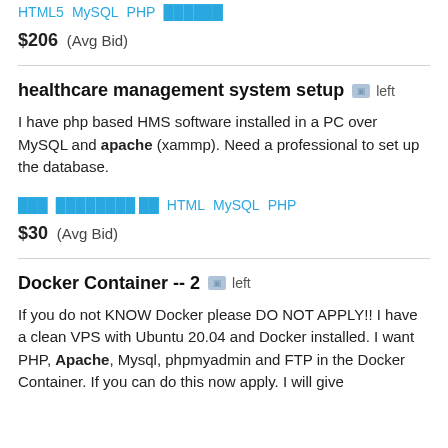HTML5   MySQL   PHP   ██████
$206  (Avg Bid)
healthcare management system setup  ██ left
I have php based HMS software installed in a PC over MySQL and apache (xammp). Need a professional to set up the database.
███   ████████ ██   HTML   MySQL   PHP
$30  (Avg Bid)
Docker Container -- 2  ██ left
If you do not KNOW Docker please DO NOT APPLY!! I have a clean VPS with Ubuntu 20.04 and Docker installed. I want PHP, Apache, Mysql, phpmyadmin and FTP in the Docker Container. If you can do this now apply. I will give